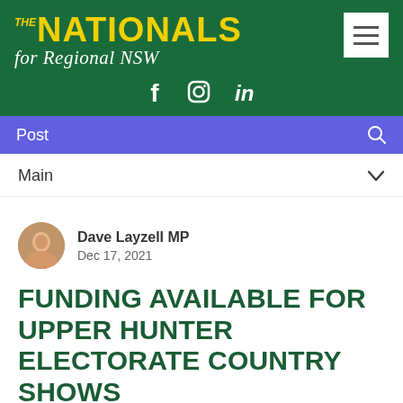[Figure (logo): The Nationals for Regional NSW website header with green background, yellow NATIONALS logo, white italic 'for Regional NSW' text, social media icons (Facebook, Instagram, LinkedIn), hamburger menu button, and purple navigation bar with 'Post' and search icon]
Main
Dave Layzell MP
Dec 17, 2021
FUNDING AVAILABLE FOR UPPER HUNTER ELECTORATE COUNTRY SHOWS